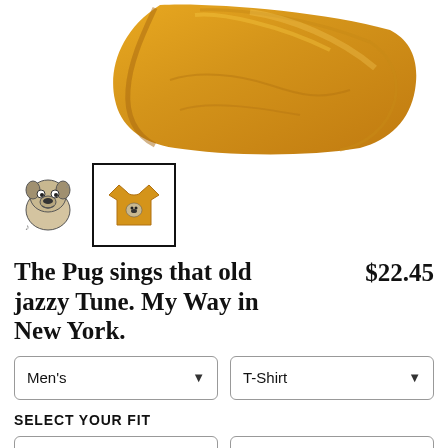[Figure (photo): Main product image showing a golden/amber colored t-shirt folded and displayed from above]
[Figure (photo): Two product thumbnails: left is a pug illustration on white background, right is the golden t-shirt with pug design shown as selected with black border]
The Pug sings that old jazzy Tune. My Way in New York.
$22.45
Men's
T-Shirt
SELECT YOUR FIT